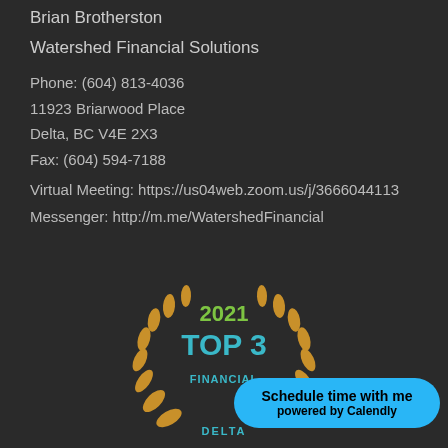Brian Brotherston
Watershed Financial Solutions
Phone: (604) 813-4036
11923 Briarwood Place
Delta, BC V4E 2X3
Fax: (604) 594-7188
Virtual Meeting: https://us04web.zoom.us/j/3666044113
Messenger: http://m.me/WatershedFinancial
[Figure (illustration): 2021 Top 3 Financial award badge with golden laurel wreath and teal text on dark background]
Schedule time with me
powered by Calendly